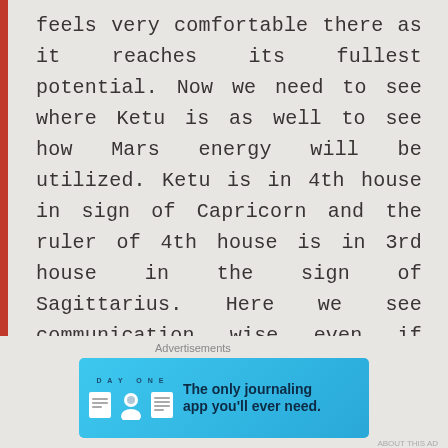feels very comfortable there as it reaches its fullest potential. Now we need to see where Ketu is as well to see how Mars energy will be utilized. Ketu is in 4th house in sign of Capricorn and the ruler of 4th house is in 3rd house in the sign of Sagittarius. Here we see communication wise even if there are some sweet moments, the romance is quite dry. The 3rd house lord Jupiter is in 2nd house in Scorpio which again is ruled by Mars. We could go in depth about all the planets and nakshatras involved but since its a child let's keep it on the surface.
Advertisements
[Figure (illustration): Advertisement banner for DAY ONE journaling app on a blue background. Shows app icons and tagline 'The only journaling app you'll ever need.']